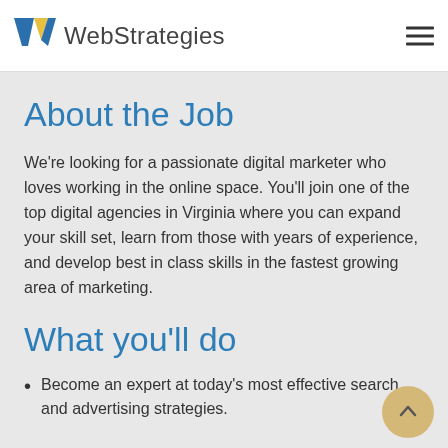WebStrategies
About the Job
We're looking for a passionate digital marketer who loves working in the online space. You'll join one of the top digital agencies in Virginia where you can expand your skill set, learn from those with years of experience, and develop best in class skills in the fastest growing area of marketing.
What you'll do
Become an expert at today's most effective search and advertising strategies.